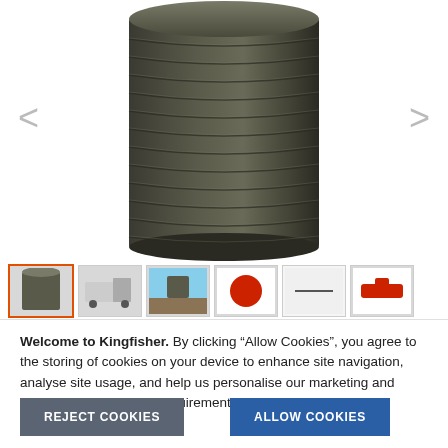[Figure (photo): Dark olive/charcoal ribbed cylindrical water storage tank shown from slightly above, with navigation arrows on left and right]
[Figure (photo): Thumbnail strip showing 6 product images: active thumbnail (dark tank), delivery truck, outdoor installation, red accessory, blank/text, red fitting]
Welcome to Kingfisher. By clicking “Allow Cookies”, you agree to the storing of cookies on your device to enhance site navigation, analyse site usage, and help us personalise our marketing and advertising to suit your requirements. View Privacy Policy.
REJECT COOKIES
ALLOW COOKIES